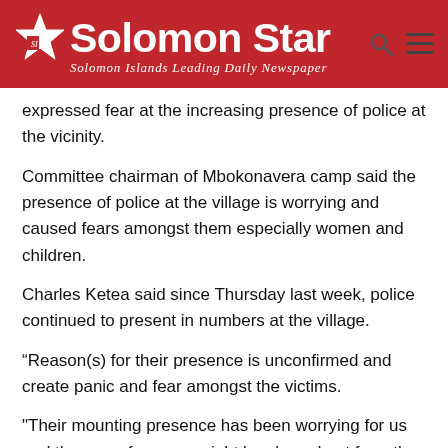Solomon Star — Solomon Islands Leading Daily Newspaper
expressed fear at the increasing presence of police at the vicinity.
Committee chairman of Mbokonavera camp said the presence of police at the village is worrying and caused fears amongst them especially women and children.
Charles Ketea said since Thursday last week, police continued to present in numbers at the village.
“Reason(s) for their presence is unconfirmed and create panic and fear amongst the victims.
"Their mounting presence has been worrying for us and there are fears we might be chased out from the village.
"If police want to provide security at the village, they